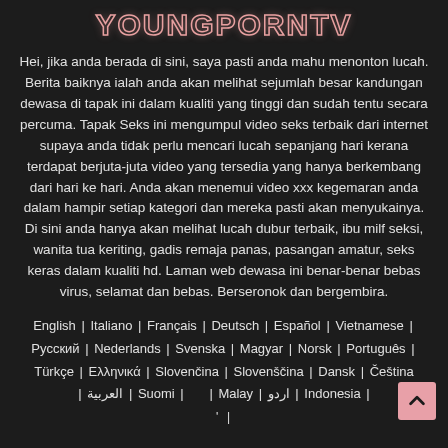YOUNGPORNTV
Hei, jika anda berada di sini, saya pasti anda mahu menonton lucah. Berita baiknya ialah anda akan melihat sejumlah besar kandungan dewasa di tapak ini dalam kualiti yang tinggi dan sudah tentu secara percuma. Tapak Seks ini mengumpul video seks terbaik dari internet supaya anda tidak perlu mencari lucah sepanjang hari kerana terdapat berjuta-juta video yang tersedia yang hanya berkembang dari hari ke hari. Anda akan menemui video xxx kegemaran anda dalam hampir setiap kategori dan mereka pasti akan menyukainya. Di sini anda hanya akan melihat lucah dubur terbaik, ibu milf seksi, wanita tua keriting, gadis remaja panas, pasangan amatur, seks keras dalam kualiti hd. Laman web dewasa ini benar-benar bebas virus, selamat dan bebas. Berseronok dan bergembira.
English | Italiano | Français | Deutsch | Español | Vietnamese | Русский | Nederlands | Svenska | Magyar | Norsk | Português | Türkçe | Ελληνικά | Slovenčina | Slovenščina | Dansk | Čeština | العربية | Suomi | | Malay | اردو | Indonesia | ' |